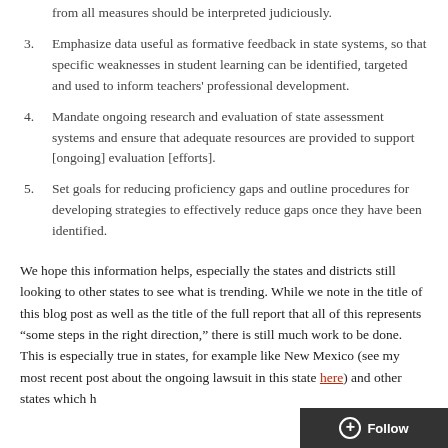than any other. If measures contradict one another, however, output from all measures should be interpreted judiciously.
3. Emphasize data useful as formative feedback in state systems, so that specific weaknesses in student learning can be identified, targeted and used to inform teachers' professional development.
4. Mandate ongoing research and evaluation of state assessment systems and ensure that adequate resources are provided to support [ongoing] evaluation [efforts].
5. Set goals for reducing proficiency gaps and outline procedures for developing strategies to effectively reduce gaps once they have been identified.
We hope this information helps, especially the states and districts still looking to other states to see what is trending. While we note in the title of this blog post as well as the title of the full report that all of this represents “some steps in the right direction,” there is still much work to be done. This is especially true in states, for example like New Mexico (see my most recent post about the ongoing lawsuit in this state here) and other states which h